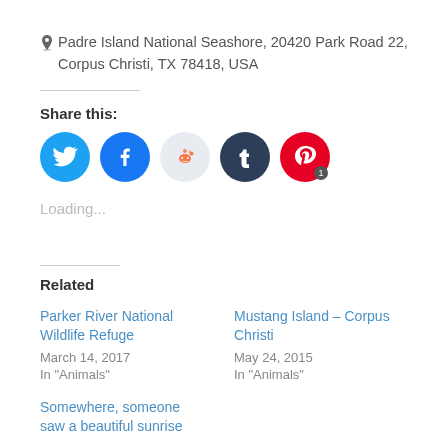📍 Padre Island National Seashore, 20420 Park Road 22, Corpus Christi, TX 78418, USA
Share this:
[Figure (infographic): Social share buttons: Twitter (blue bird), Facebook (blue f), Reddit (light blue alien), Tumblr (dark blue t), Pinterest (red P with badge 1)]
Loading...
Related
Parker River National Wildlife Refuge
March 14, 2017
In "Animals"
Mustang Island – Corpus Christi
May 24, 2015
In "Animals"
Somewhere, someone saw a beautiful sunrise